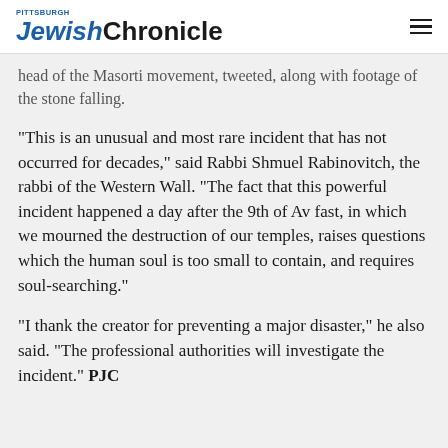Pittsburgh Jewish Chronicle
head of the Masorti movement, tweeted, along with footage of the stone falling.
“This is an unusual and most rare incident that has not occurred for decades,” said Rabbi Shmuel Rabinovitch, the rabbi of the Western Wall. “The fact that this powerful incident happened a day after the 9th of Av fast, in which we mourned the destruction of our temples, raises questions which the human soul is too small to contain, and requires soul-searching.”
“I thank the creator for preventing a major disaster,” he also said. “The professional authorities will investigate the incident.” PJC